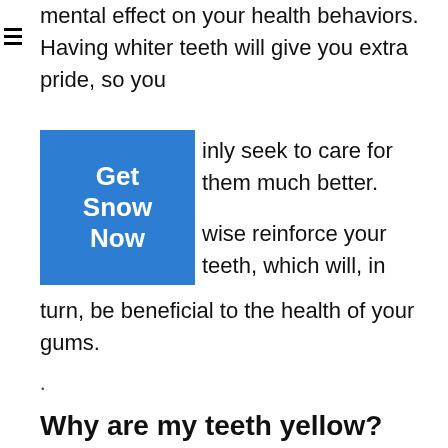mental effect on your health behaviors. Having whiter teeth will give you extra pride, so you will only seek to care for them much better. Likewise reinforce your teeth, which will, in turn, be beneficial to the health of your gums.
[Figure (other): Blue button with white bold text reading 'Get Snow Now']
.
Why are my teeth yellow?
The discoloration of teeth can be brought on by a fantastic many points. When you consume alcohol points like soft drink or red wine, the substances can seep right into the enamel that is covering your tooth. An additional common culprit is using tobacco products. Heavy